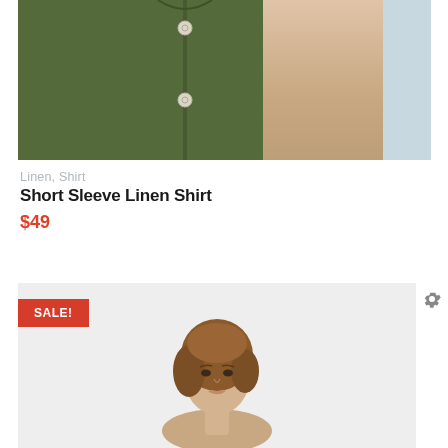[Figure (photo): Close-up photo of a dark olive/green short sleeve linen shirt with white buttons visible, alongside a person's bare arm on a light blue background]
Linen, Shirt
Short Sleeve Linen Shirt
$49
[Figure (photo): Photo of a female model with auburn hair wearing a garment, shown from shoulders up, on a light grey background. A red SALE! badge is overlaid in the top left corner.]